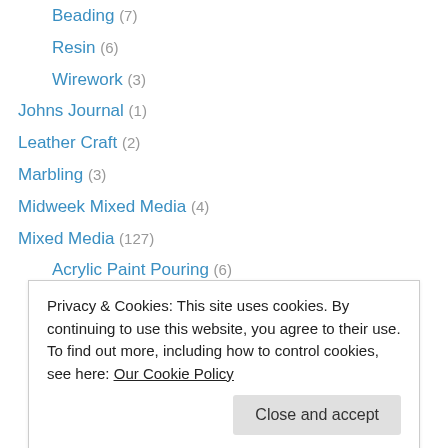Beading (7)
Resin (6)
Wirework (3)
Johns Journal (1)
Leather Craft (2)
Marbling (3)
Midweek Mixed Media (4)
Mixed Media (127)
Acrylic Paint Pouring (6)
Canvas Creations (20)
Gelli Plate Printing (3)
Journalling (1)
MDF Kits (6)
Privacy & Cookies: This site uses cookies. By continuing to use this website, you agree to their use. To find out more, including how to control cookies, see here: Our Cookie Policy
Embroidery (3)